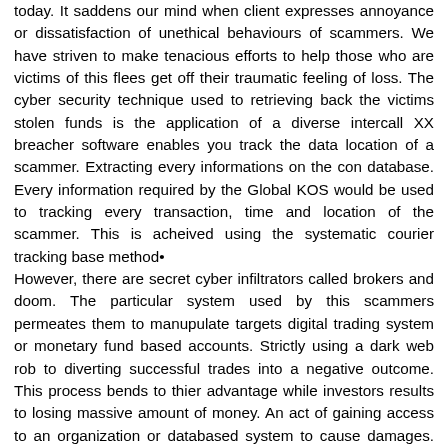today. It saddens our mind when client expresses annoyance or dissatisfaction of unethical behaviours of scammers. We have striven to make tenacious efforts to help those who are victims of this flees get off their traumatic feeling of loss. The cyber security technique used to retrieving back the victims stolen funds is the application of a diverse intercall XX breacher software enables you track the data location of a scammer. Extracting every informations on the con database. Every information required by the Global KOS would be used to tracking every transaction, time and location of the scammer. This is acheived using the systematic courier tracking base method•
However, there are secret cyber infiltrators called brokers and doom. The particular system used by this scammers permeates them to manupulate targets digital trading system or monetary fund based accounts. Strictly using a dark web rob to diverting successful trades into a negative outcome. This process bends to thier advantage while investors results to losing massive amount of money. An act of gaining access to an organization or databased system to cause damages. We have worked so hard to